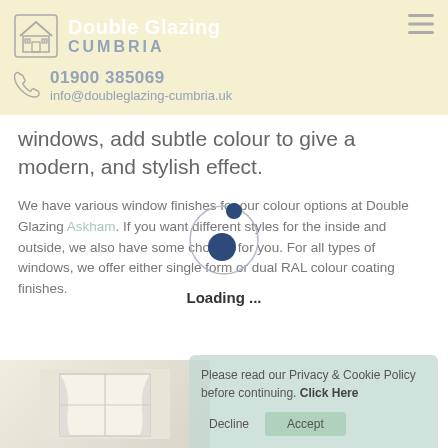Double Glazing CUMBRIA | 01900 385069 | info@doubleglazing-cumbria.uk
windows, add subtle colour to give a modern, and stylish effect.
We have various window finishes for our colour options at Double Glazing Askham. If you want different styles for the inside and outside, we also have some choices for you. For all types of windows, we offer either single form or dual RAL colour coating finishes.
[Figure (illustration): Loading spinner animation with circular orbit and two dots, navy blue colors, with Loading ... text below]
Please read our Privacy & Cookie Policy before continuing. Click Here
[Figure (photo): Interior room photo showing windows with light curtains]